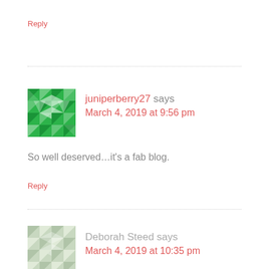Reply
[Figure (illustration): Green geometric quilt-pattern avatar for juniperberry27]
juniperberry27 says
March 4, 2019 at 9:56 pm
So well deserved…it's a fab blog.
Reply
[Figure (illustration): Light green/grey geometric quilt-pattern avatar for Deborah Steed]
Deborah Steed says
March 4, 2019 at 10:35 pm